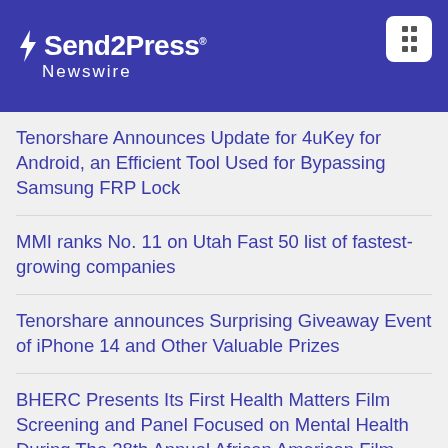[Figure (logo): Send2Press Newswire logo with lightning bolt icon on dark blue header background, with a menu icon button in top right corner]
Tenorshare Announces Update for 4uKey for Android, an Efficient Tool Used for Bypassing Samsung FRP Lock
MMI ranks No. 11 on Utah Fast 50 list of fastest-growing companies
Tenorshare announces Surprising Giveaway Event of iPhone 14 and Other Valuable Prizes
BHERC Presents Its First Health Matters Film Screening and Panel Focused on Mental Health During The 28th Annual African American Film Marketplace and S.E. Manly Short Film Showcase
Scientology Volunteer Ministers Reach Out Once Again with Help